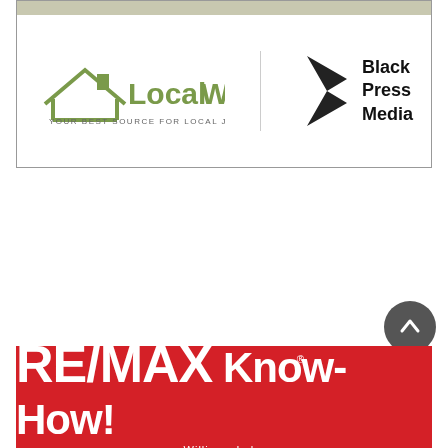[Figure (logo): LocalWork.ca logo with tagline 'YOUR BEST SOURCE FOR LOCAL JOBS' alongside Black Press Media logo, inside a bordered box with light gray top bar]
[Figure (logo): RE/MAX Williams Lake banner with red background, white RE/MAX logo text and 'Know-How!' tagline, 'Williams Lake' text below]